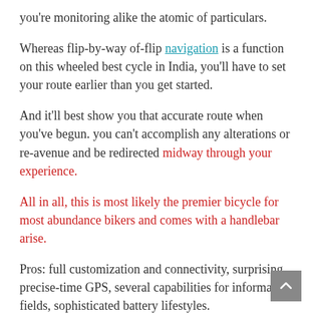you're monitoring alike the atomic of particulars.
Whereas flip-by-way of-flip navigation is a function on this wheeled best cycle in India, you'll have to set your route earlier than you get started.
And it'll best show you that accurate route when you've begun. you can't accomplish any alterations or re-avenue and be redirected midway through your experience.
All in all, this is most likely the premier bicycle for most abundance bikers and comes with a handlebar arise.
Pros: full customization and connectivity, surprising precise-time GPS, several capabilities for information fields, sophisticated battery lifestyles.
Those who have loads of information to track are